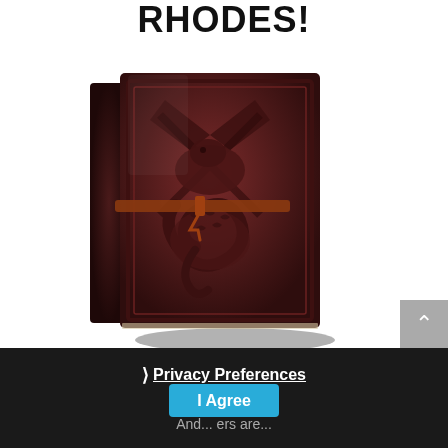RHODES!
[Figure (photo): A dark brown leather-bound journal/book with an embossed dragon design on the cover, tied with a leather strap]
Privacy Preferences
I Agree
And... ers are...